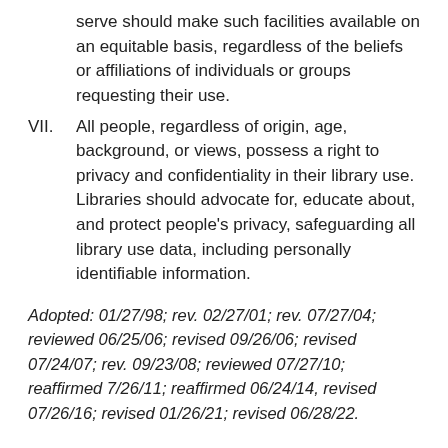serve should make such facilities available on an equitable basis, regardless of the beliefs or affiliations of individuals or groups requesting their use.
VII. All people, regardless of origin, age, background, or views, possess a right to privacy and confidentiality in their library use. Libraries should advocate for, educate about, and protect people's privacy, safeguarding all library use data, including personally identifiable information.
Adopted: 01/27/98; rev. 02/27/01; rev. 07/27/04; reviewed 06/25/06; revised 09/26/06; revised 07/24/07; rev. 09/23/08; reviewed 07/27/10; reaffirmed 7/26/11; reaffirmed 06/24/14, revised 07/26/16; revised 01/26/21; revised 06/28/22.